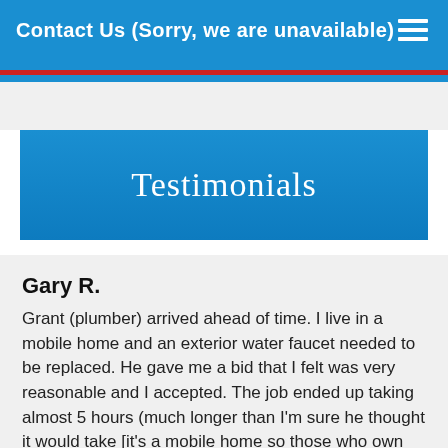Contact Us (Sorry, we are unavailable)
Testimonials
Gary R.
Grant (plumber) arrived ahead of time. I live in a mobile home and an exterior water faucet needed to be replaced. He gave me a bid that I felt was very reasonable and I accepted. The job ended up taking almost 5 hours (much longer than I'm sure he thought it would take [it's a mobile home so those who own one